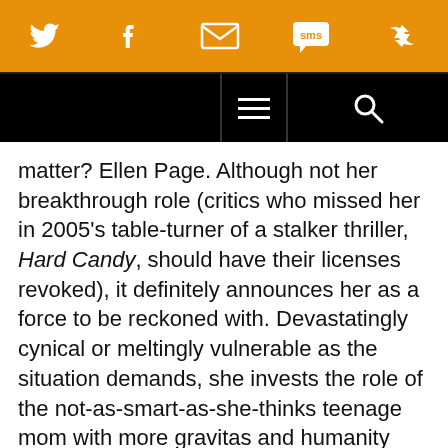Social sharing bar with Twitter, Facebook, Email, SMS, and share icons
Navigation bar with hamburger menu and search icon
matter? Ellen Page. Although not her breakthrough role (critics who missed her in 2005’s table-turner of a stalker thriller, Hard Candy, should have their licenses revoked), it definitely announces her as a force to be reckoned with. Devastatingly cynical or meltingly vulnerable as the situation demands, she invests the role of the not-as-smart-as-she-thinks teenage mom with more gravitas and humanity than the slick script could even conceive of. Chris Barsanti